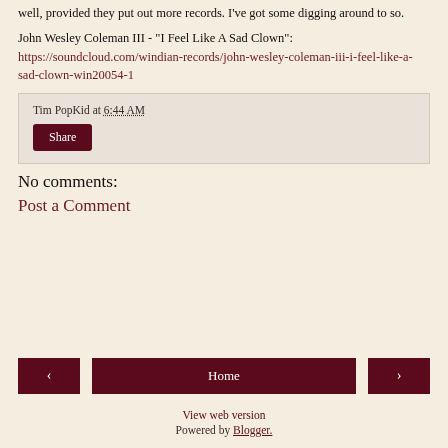well, provided they put out more records. I've got some digging around to so.
John Wesley Coleman III - "I Feel Like A Sad Clown": https://soundcloud.com/windian-records/john-wesley-coleman-iii-i-feel-like-a-sad-clown-win20054-1
Tim PopKid at 6:44 AM
Share
No comments:
Post a Comment
View web version
Powered by Blogger.